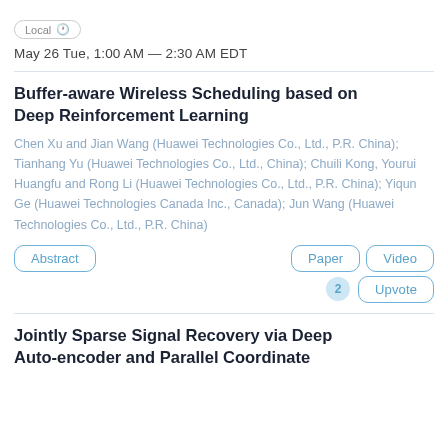Local ⏱
May 26 Tue, 1:00 AM — 2:30 AM EDT
Buffer-aware Wireless Scheduling based on Deep Reinforcement Learning
Chen Xu and Jian Wang (Huawei Technologies Co., Ltd., P.R. China); Tianhang Yu (Huawei Technologies Co., Ltd., China); Chuili Kong, Yourui Huangfu and Rong Li (Huawei Technologies Co., Ltd., P.R. China); Yiqun Ge (Huawei Technologies Canada Inc., Canada); Jun Wang (Huawei Technologies Co., Ltd., P.R. China)
Abstract | Paper | Video | 2 | Upvote
Jointly Sparse Signal Recovery via Deep Auto-encoder and Parallel Coordinate